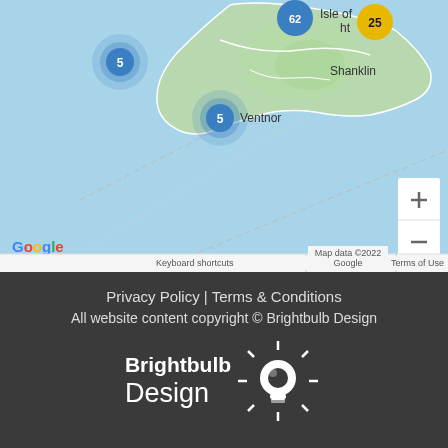[Figure (map): Google Maps screenshot showing Isle of Wight coastline with cluster markers: blue cluster '5' at left, blue cluster '62' at top center, yellow cluster '25' at top right, blue cluster '5' at center. Labels: 'Isle of Wight', 'Shanklin', 'Ventnor'. Zoom controls (+/-) visible. Google logo and map attribution bar at bottom.]
Privacy Policy | Terms & Conditions
All website content copyright © Brightbulb Design
[Figure (logo): Brightbulb Design logo in white on dark background, with lightbulb icon]